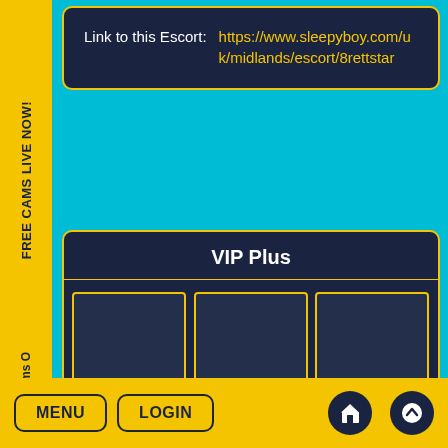FREE CAMS LIVE NOW!
Link to this Escort: https://www.sleepyboy.com/uk/midlands/escort/8rettstar
VIP Plus
Chatrooms O
Master Ale..
ICONDAD
Derek AKA ..
MENU
LOGIN